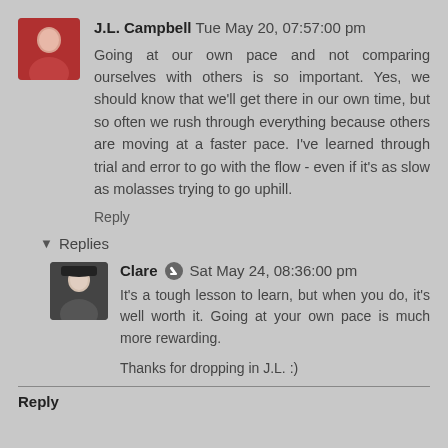J.L. Campbell  Tue May 20, 07:57:00 pm
Going at our own pace and not comparing ourselves with others is so important. Yes, we should know that we'll get there in our own time, but so often we rush through everything because others are moving at a faster pace. I've learned through trial and error to go with the flow - even if it's as slow as molasses trying to go uphill.
Reply
▼ Replies
Clare  Sat May 24, 08:36:00 pm
It's a tough lesson to learn, but when you do, it's well worth it. Going at your own pace is much more rewarding.
Thanks for dropping in J.L. :)
Reply